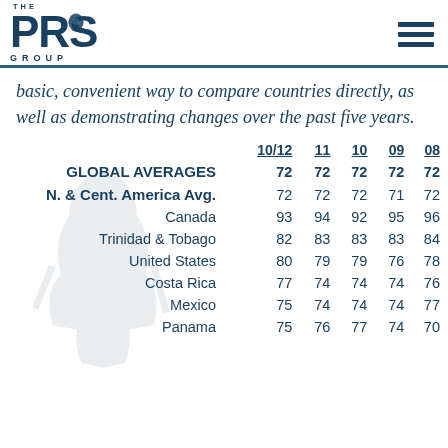THE PRS GROUP
basic, convenient way to compare countries directly, as well as demonstrating changes over the past five years.
|  | 10/12 | 11 | 10 | 09 | 08 |
| --- | --- | --- | --- | --- | --- |
| GLOBAL AVERAGES | 72 | 72 | 72 | 72 | 72 |
| N. & Cent. America Avg. | 72 | 72 | 72 | 71 | 72 |
| Canada | 93 | 94 | 92 | 95 | 96 |
| Trinidad & Tobago | 82 | 83 | 83 | 83 | 84 |
| United States | 80 | 79 | 79 | 76 | 78 |
| Costa Rica | 77 | 74 | 74 | 74 | 76 |
| Mexico | 75 | 74 | 74 | 74 | 77 |
| Panama | 75 | 76 | 77 | 74 | 70 |